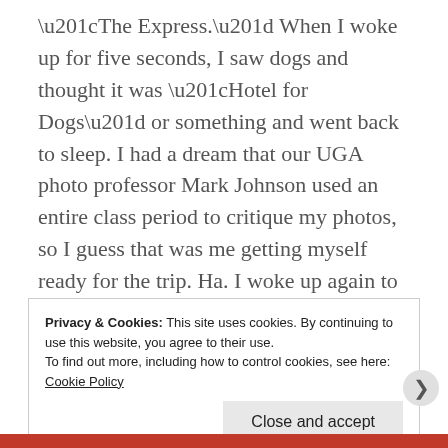“The Express.” When I woke up for five seconds, I saw dogs and thought it was “Hotel for Dogs” or something and went back to sleep. I had a dream that our UGA photo professor Mark Johnson used an entire class period to critique my photos, so I guess that was me getting myself ready for the trip. Ha. I woke up again to the flight attendants serving breakfast (a bagel and banana – one of the best I’ve had in awhile, actually) about an hour before we landed in Paris. Not bad getting some sleep. The flight wasn’t too bad either. It was a bit bumpy over the English Channel, but I was just happy to be near Europe.
Privacy & Cookies: This site uses cookies. By continuing to use this website, you agree to their use. To find out more, including how to control cookies, see here: Cookie Policy
Close and accept